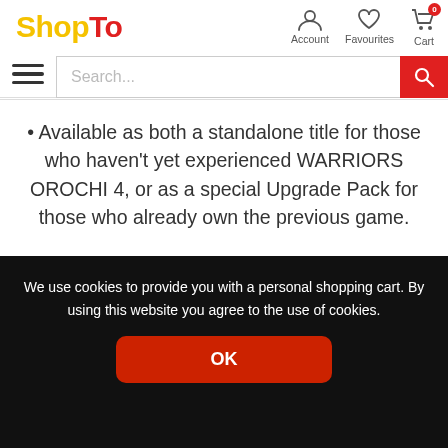ShopTo — Account, Favourites, Cart
Available as both a standalone title for those who haven't yet experienced WARRIORS OROCHI 4, or as a special Upgrade Pack for those who already own the previous game.
[Figure (screenshot): Partially visible game screenshot at the bottom of the content area]
We use cookies to provide you with a personal shopping cart. By using this website you agree to the use of cookies.